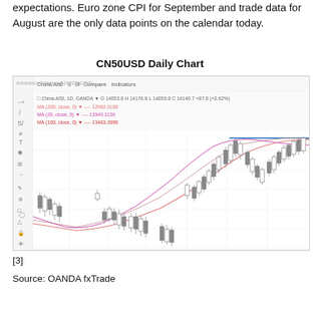expectations. Euro zone CPI for September and trade data for August are the only data points on the calendar today.
CN50USD Daily Chart
[Figure (screenshot): CN50USD daily candlestick chart from OANDA Advanced Charting platform showing China A50 index price action with three moving averages (MA 100, MA 200, MA 100 close). The chart shows a trough followed by a strong upward trend, with a blue horizontal resistance line at the top right. Candlestick data: O 14053.8 H 14176.8 L 14053.8 C 16140.7 +87.0 (+0.62%)]
[3]
Source: OANDA fxTrade